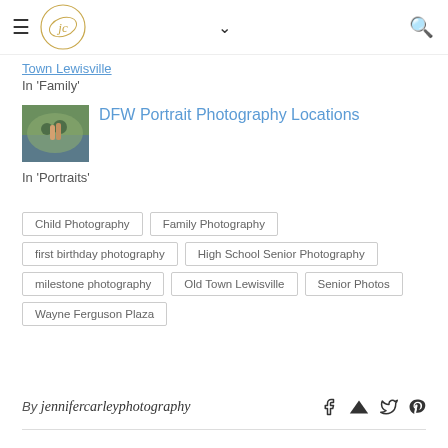Jennifer Carley Photography — navigation bar with logo, hamburger menu, chevron, and search icon
Town Lewisville
In 'Family'
[Figure (photo): Thumbnail photo of couple in outdoor green/water setting]
DFW Portrait Photography Locations
In 'Portraits'
Child Photography
Family Photography
first birthday photography
High School Senior Photography
milestone photography
Old Town Lewisville
Senior Photos
Wayne Ferguson Plaza
By jennifercarleyphotography